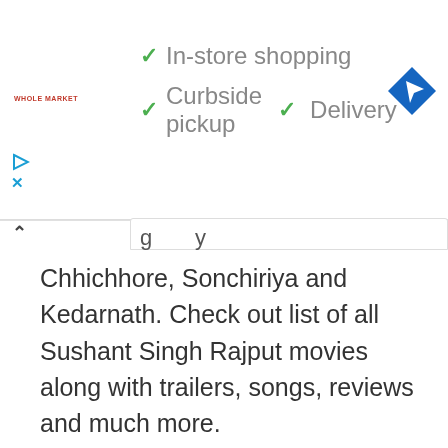[Figure (screenshot): Advertisement banner for Whole Market store showing: In-store shopping, Curbside pickup, and Delivery options with green checkmarks, a navigation/directions icon (blue diamond with arrow), Whole Market logo, and ad controls (play and close buttons)]
Chhichhore, Sonchiriya and Kedarnath. Check out list of all Sushant Singh Rajput movies along with trailers, songs, reviews and much more.